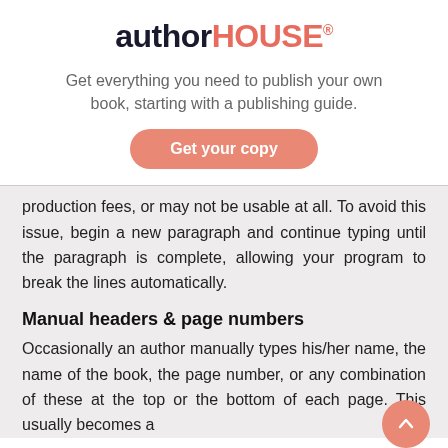[Figure (logo): AuthorHouse logo with 'author' in dark navy bold and 'HOUSE' in coral/salmon red bold, followed by a registered trademark symbol]
Get everything you need to publish your own book, starting with a publishing guide.
Get your copy
production fees, or may not be usable at all. To avoid this issue, begin a new paragraph and continue typing until the paragraph is complete, allowing your program to break the lines automatically.
Manual headers & page numbers
Occasionally an author manually types his/her name, the name of the book, the page number, or any combination of these at the top or the bottom of each page. This usually becomes a